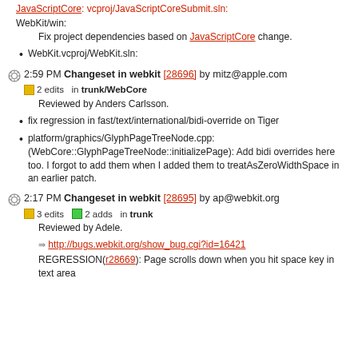JavaScriptCore: vcproj/JavaScriptCoreSubmit.sln:
WebKit/win:
Fix project dependencies based on JavaScriptCore change.
WebKit.vcproj/WebKit.sln:
2:59 PM Changeset in webkit [28696] by mitz@apple.com
2 edits  in trunk/WebCore
Reviewed by Anders Carlsson.
fix regression in fast/text/international/bidi-override on Tiger
platform/graphics/GlyphPageTreeNode.cpp: (WebCore::GlyphPageTreeNode::initializePage): Add bidi overrides here too. I forgot to add them when I added them to treatAsZeroWidthSpace in an earlier patch.
2:17 PM Changeset in webkit [28695] by ap@webkit.org
3 edits  2 adds  in trunk
Reviewed by Adele.
http://bugs.webkit.org/show_bug.cgi?id=16421
REGRESSION(r28669): Page scrolls down when you hit space key in text area